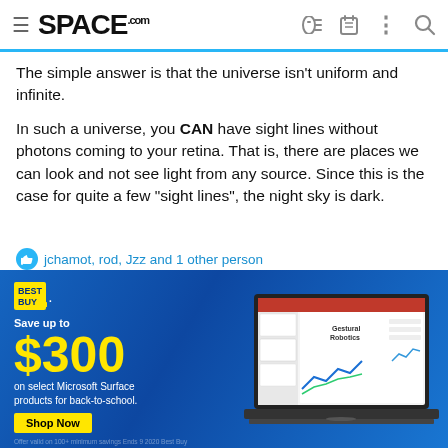SPACE.com
The simple answer is that the universe isn't uniform and infinite.
In such a universe, you CAN have sight lines without photons coming to your retina. That is, there are places we can look and not see light from any source. Since this is the case for quite a few "sight lines", the night sky is dark.
jchamot, rod, Jzz and 1 other person
DrJoePesce
Verified Expert
Mar 21, 2020  221  417  1,960
[Figure (screenshot): Best Buy advertisement: Save up to $300 on select Microsoft Surface products for back-to-school. Shop Now button. Laptop showing PowerPoint presentation with 'Gestural Robotics' slide.]